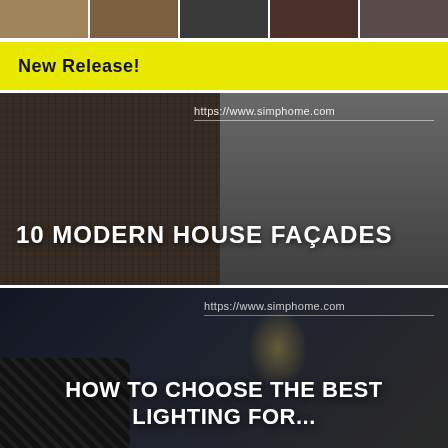[Figure (photo): Top horizontal strip of small interior/room photos]
New Release!
[Figure (photo): 10 Modern House Façades – composite photo of modern building exteriors with URL https://www.simphome.com]
[Figure (photo): How to Choose the Best Lighting For... – bedroom photo with lamp and dark tones, URL https://www.simphome.com]